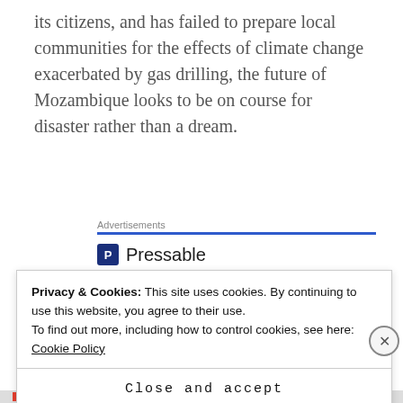its citizens, and has failed to prepare local communities for the effects of climate change exacerbated by gas drilling, the future of Mozambique looks to be on course for disaster rather than a dream.
Advertisements
[Figure (logo): Pressable logo with icon and name, followed by dots]
The Platform
Wh... W... P...
Privacy & Cookies: This site uses cookies. By continuing to use this website, you agree to their use.
To find out more, including how to control cookies, see here: Cookie Policy
Close and accept